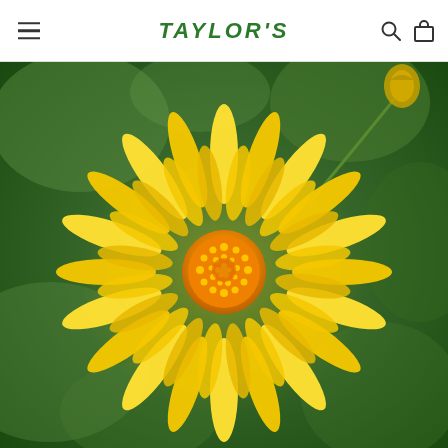TAYLOR'S
[Figure (photo): Close-up photograph of a bright yellow daisy-like flower with many elongated petals and a golden-yellow center, set against a blurred green background. A second flower bud is visible in the upper right corner.]